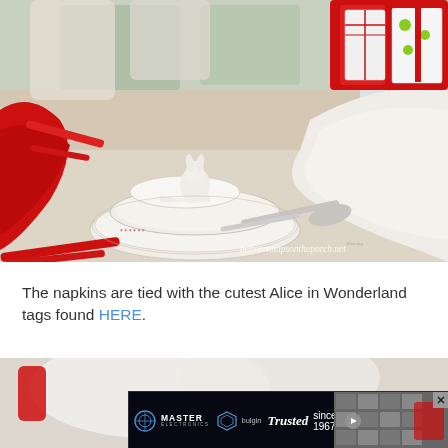[Figure (photo): A beautifully set Alice in Wonderland themed table with white plates stacked on each other including a pedestal dish with a white bunny figurine, red napkins, red-handled cutlery, decorative bottles with tags, and red gift items in the background. Watermark reads 'betweennapsontheporch.net'.]
The napkins are tied with the cutest Alice in Wonderland tags found HERE.
[Figure (photo): Bottom portion of another table setting photo, partially visible, with red accent item on left side.]
[Figure (other): Advertisement overlay: Master Electronics / bulgin 'Trusted since 1967.' with image of electronic components on right side.]